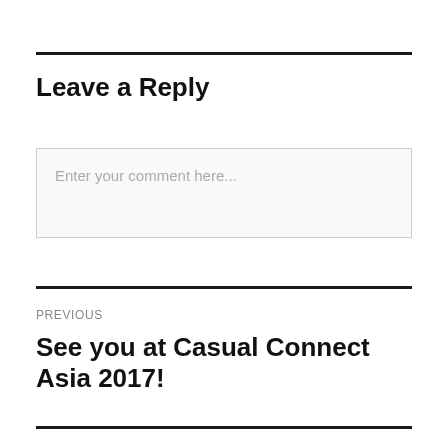Leave a Reply
Enter your comment here...
PREVIOUS
See you at Casual Connect Asia 2017!